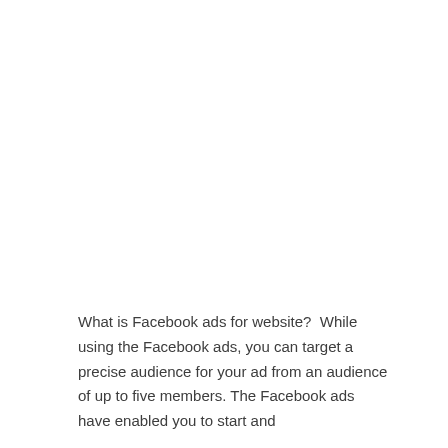What is Facebook ads for website?  While using the Facebook ads, you can target a precise audience for your ad from an audience of up to five members. The Facebook ads have enabled you to start and